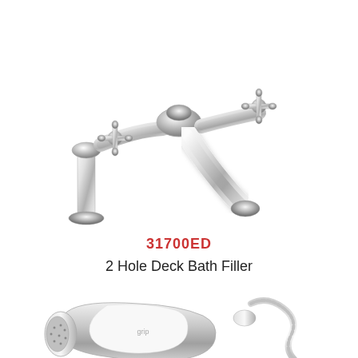[Figure (photo): Chrome 2-hole deck bath filler faucet with cross handles, viewed from the front-side angle. Classic/vintage style with polished chrome finish.]
31700ED
2 Hole Deck Bath Filler
[Figure (photo): Partial view of a chrome bath/shower handset with white handle and flexible hose, cropped at bottom of page.]